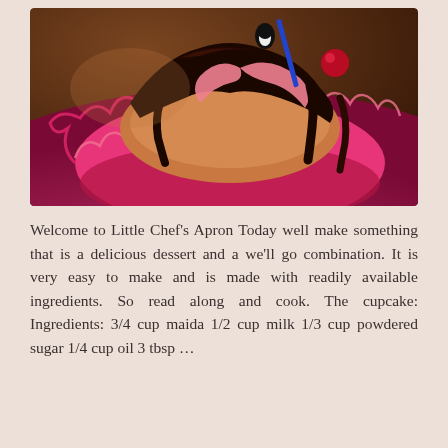[Figure (photo): Close-up photo of a cupcake in a pink silicone cupcake mold with chocolate frosting and decorations on top, placed on a dark pink/magenta surface.]
Welcome to Little Chef's Apron Today well make something that is a delicious dessert and a we'll go combination. It is very easy to make and is made with readily available ingredients. So read along and cook. The cupcake: Ingredients: 3/4 cup maida 1/2 cup milk 1/3 cup powdered sugar 1/4 cup oil 3 tbsp ...